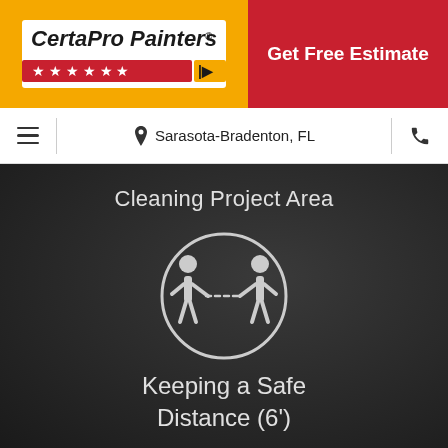[Figure (logo): CertaPro Painters logo with stars on yellow background]
Get Free Estimate
≡  Sarasota-Bradenton, FL  📞
Cleaning Project Area
[Figure (infographic): Social distancing icon showing two figures with dotted line between them inside a circle]
Keeping a Safe Distance (6')